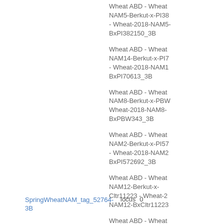Wheat ABD - Wheat NAM5-Berkut-x-PI38 - Wheat-2018-NAM5-BxPI382150_3B
Wheat ABD - Wheat NAM14-Berkut-x-PI7 - Wheat-2018-NAM14-BxPI70613_3B
Wheat ABD - Wheat NAM8-Berkut-x-PBW - Wheat-2018-NAM8-BxPBW343_3B
Wheat ABD - Wheat NAM2-Berkut-x-PI57 - Wheat-2018-NAM2-BxPI572692_3B
Wheat ABD - Wheat NAM12-Berkut-x-Cltr11223 - Wheat-2018-NAM12-BxCltr11223
Wheat ABD - Wheat NAM24-Berkut-x-PI192147 - Wheat-2018-NAM24-BxPI192147
SpringWheatNAM_tag_52764-3B
locus
0
Wheat ABD - Wheat NAM1-Berkut-x-